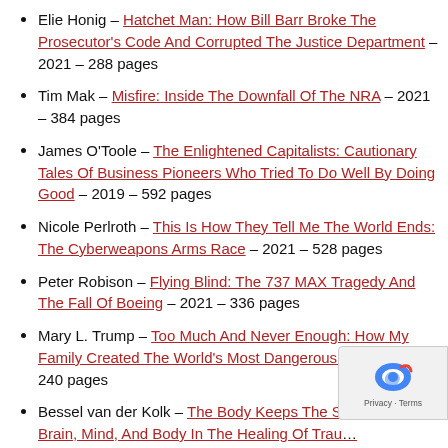Elie Honig – Hatchet Man: How Bill Barr Broke The Prosecutor's Code And Corrupted The Justice Department – 2021 – 288 pages
Tim Mak – Misfire: Inside The Downfall Of The NRA – 2021 – 384 pages
James O'Toole – The Enlightened Capitalists: Cautionary Tales Of Business Pioneers Who Tried To Do Well By Doing Good – 2019 – 592 pages
Nicole Perlroth – This Is How They Tell Me The World Ends: The Cyberweapons Arms Race – 2021 – 528 pages
Peter Robison – Flying Blind: The 737 MAX Tragedy And The Fall Of Boeing – 2021 – 336 pages
Mary L. Trump – Too Much And Never Enough: How My Family Created The World's Most Dangerous Man – 2020 – 240 pages
Bessel van der Kolk – The Body Keeps The Score: Brain, Mind, And Body In The Healing Of Trauma – 2014 – 464 pages